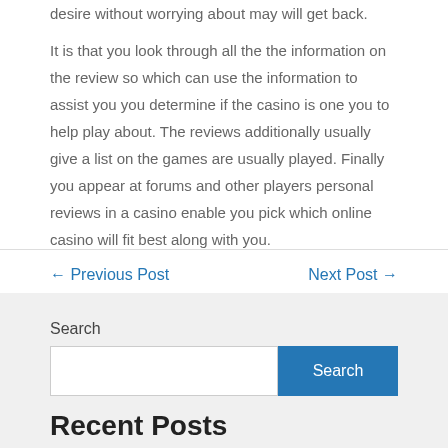desire without worrying about may will get back.
It is that you look through all the the information on the review so which can use the information to assist you you determine if the casino is one you to help play about. The reviews additionally usually give a list on the games are usually played. Finally you appear at forums and other players personal reviews in a casino enable you pick which online casino will fit best along with you.
← Previous Post    Next Post →
Search
Recent Posts